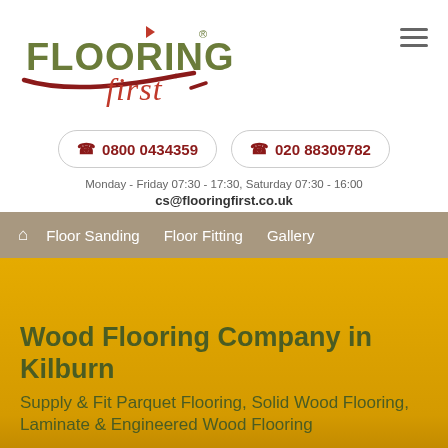[Figure (logo): Flooring First company logo with olive green FLOORING text and red italic 'first' script, with red swoosh underline and registered trademark symbol]
0800 0434359
020 88309782
Monday - Friday 07:30 - 17:30, Saturday 07:30 - 16:00
cs@flooringfirst.co.uk
Floor Sanding  Floor Fitting  Gallery
Wood Flooring Company in Kilburn
Supply & Fit Parquet Flooring, Solid Wood Flooring, Laminate & Engineered Wood Flooring